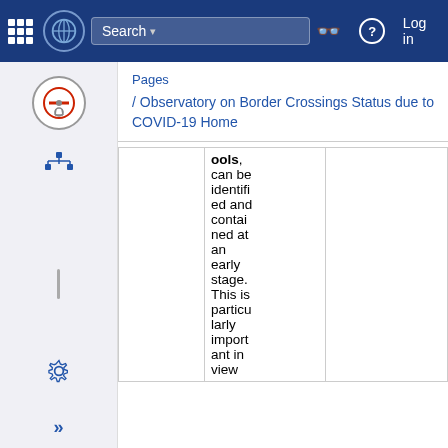Search | Log in
Pages / Observatory on Border Crossings Status due to COVID-19 Home
ools, can be identified and contained at an early stage. This is particularly important in view